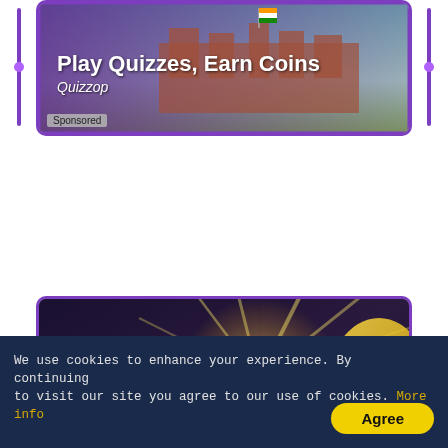[Figure (screenshot): Advertisement banner for Quizzop showing Red Fort with Indian flag. Text reads 'Play Quizzes, Earn Coins' and 'Quizzop'. Sponsored tag at bottom left. Purple border.]
[Figure (screenshot): Advertisement banner for Gamezop IPL Game showing animated cricket ball being hit by a bat. Text reads 'IPL Game' and 'Gamezop'. Sponsored tag at bottom left. Purple border.]
We use cookies to enhance your experience. By continuing to visit our site you agree to our use of cookies. More info